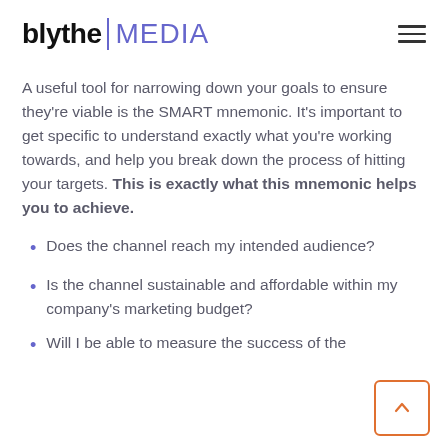blythe MEDIA
A useful tool for narrowing down your goals to ensure they’re viable is the SMART mnemonic. It’s important to get specific to understand exactly what you’re working towards, and help you break down the process of hitting your targets. This is exactly what this mnemonic helps you to achieve.
Does the channel reach my intended audience?
Is the channel sustainable and affordable within my company’s marketing budget?
Will I be able to measure the success of the